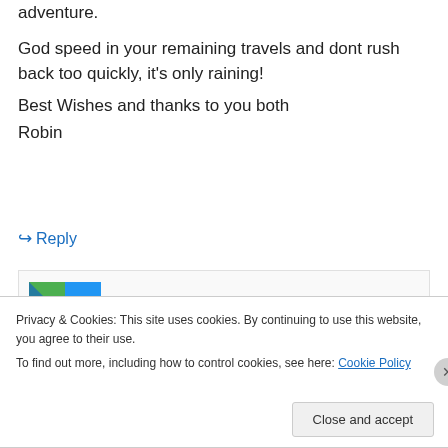adventure.
God speed in your remaining travels and dont rush back too quickly, it's only raining!
Best Wishes and thanks to you both
Robin
↪ Reply
[Figure (screenshot): Pocket Casts advertisement banner: The go-to app for podcast lovers.]
REPORT THIS AD
Privacy & Cookies: This site uses cookies. By continuing to use this website, you agree to their use.
To find out more, including how to control cookies, see here: Cookie Policy
Close and accept